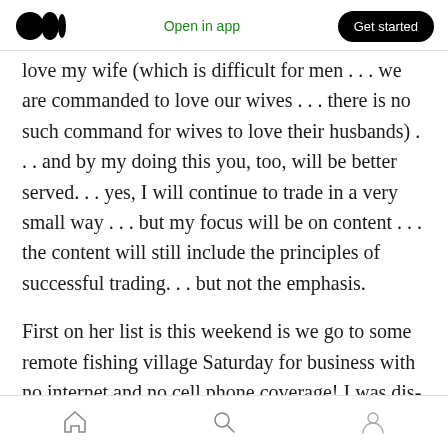[Figure (screenshot): Medium app top navigation bar with Medium logo (two filled circles), 'Open in app' green text link, and 'Get started' black pill button]
love my wife (which is difficult for men . . . we are commanded to love our wives . . . there is no such command for wives to love their husbands) . . . and by my doing this you, too, will be better served. . . yes, I will continue to trade in a very small way . . . but my focus will be on content . . . the content will still include the principles of successful trading. . . but not the emphasis.
First on her list is this weekend is we go to some remote fishing village Saturday for business with no internet and no cell phone coverage! I was dis-
[Figure (screenshot): Mobile bottom navigation bar with home, search, and profile icons]